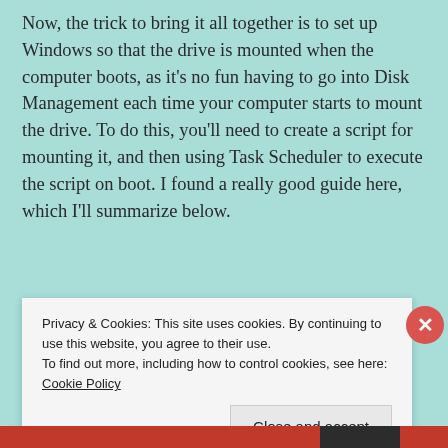Now, the trick to bring it all together is to set up Windows so that the drive is mounted when the computer boots, as it's no fun having to go into Disk Management each time your computer starts to mount the drive. To do this, you'll need to create a script for mounting it, and then using Task Scheduler to execute the script on boot. I found a really good guide here, which I'll summarize below.
Privacy & Cookies: This site uses cookies. By continuing to use this website, you agree to their use.
To find out more, including how to control cookies, see here: Cookie Policy